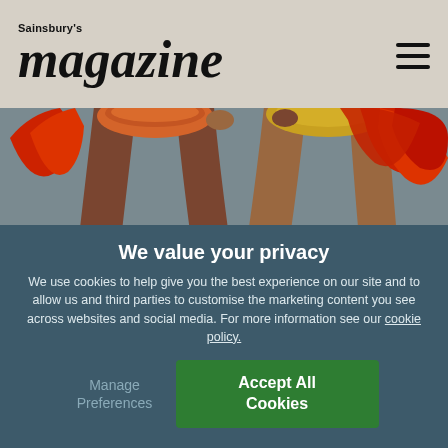Sainsbury's magazine
[Figure (photo): Two carnival dancers from the waist down, wearing colorful costumes with orange beaded bikini bottoms and gold/red feather headdress, standing on a street]
We value your privacy
We use cookies to help give you the best experience on our site and to allow us and third parties to customise the marketing content you see across websites and social media. For more information see our cookie policy.
Manage Preferences
Accept All Cookies